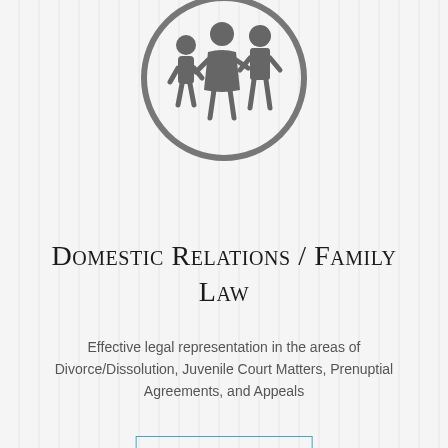[Figure (illustration): Family icon: circle outline containing silhouettes of a child, woman, and man holding hands, rendered in grey]
Domestic Relations / Family Law
Effective legal representation in the areas of Divorce/Dissolution, Juvenile Court Matters, Prenuptial Agreements, and Appeals
READ MORE →
[Figure (illustration): Graduation cap icon inside a circle outline, rendered in grey, partially visible at bottom]